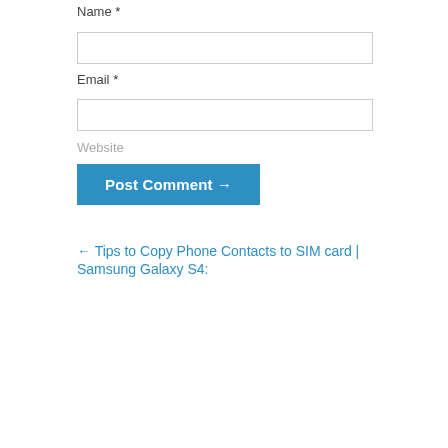Name *
Email *
Website
Post Comment →
← Tips to Copy Phone Contacts to SIM card | Samsung Galaxy S4: